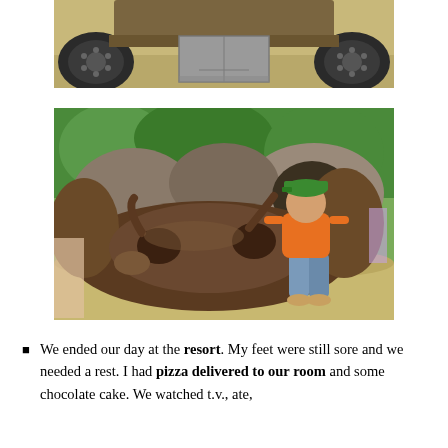[Figure (photo): Partial view of a large off-road vehicle/truck undercarriage with large muddy tires and a metal crate/box beneath it, photographed from ground level.]
[Figure (photo): A young child in an orange shirt and blue jeans with a green cap sits on a large triceratops dinosaur skull sculpture at what appears to be a theme park attraction surrounded by rock formations.]
We ended our day at the resort. My feet were still sore and we needed a rest. I had pizza delivered to our room and some chocolate cake. We watched t.v., ate,